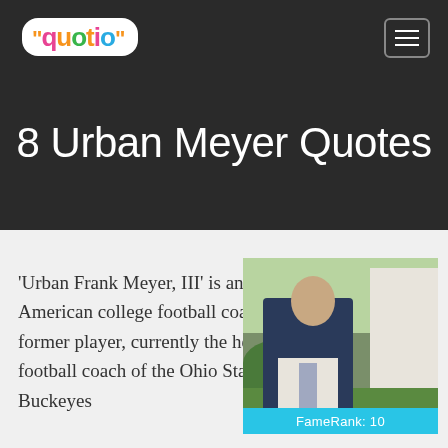[Figure (logo): Quotio logo in colorful bubble letters on white rounded background]
8 Urban Meyer Quotes
'Urban Frank Meyer, III' is an American college football coach and former player, currently the head football coach of the Ohio State Buckeyes
[Figure (photo): Photo of Urban Meyer in a suit outdoors with greenery and building in background, with FameRank: 10 label bar below]